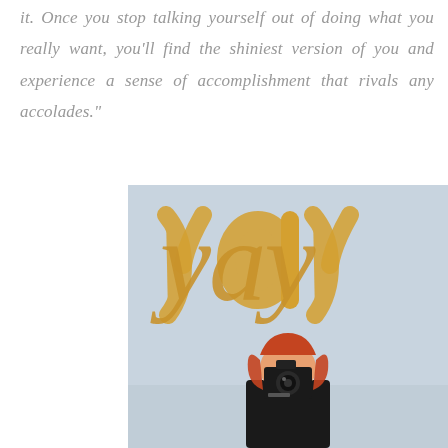it. Once you stop talking yourself out of doing what you really want, you'll find the shiniest version of you and experience a sense of accomplishment that rivals any accolades."
[Figure (photo): A woman with red/auburn hair holds a Canon camera up to her face, photographing the viewer. Above her hangs a large gold metallic balloon arrangement spelling 'yay' in cursive script against a light blue-grey wall.]